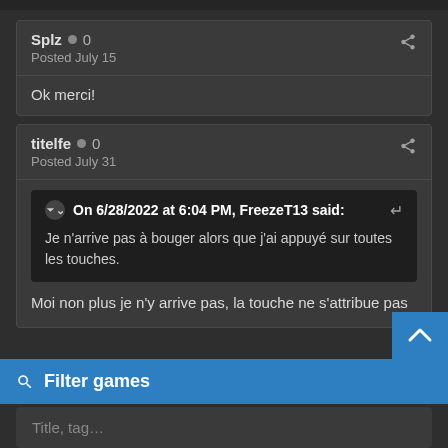Splz • 0
Posted July 15
Ok merci!
titelfe • 0
Posted July 31
On 6/28/2022 at 6:04 PM, FreezeT13 said:
Je n'arrive pas à bouger alors que j'ai appuyé sur toutes les touches.
Moi non plus je n'y arrive pas, la touche ne s'attribue pas
🔍 Filter games
Title, tag…